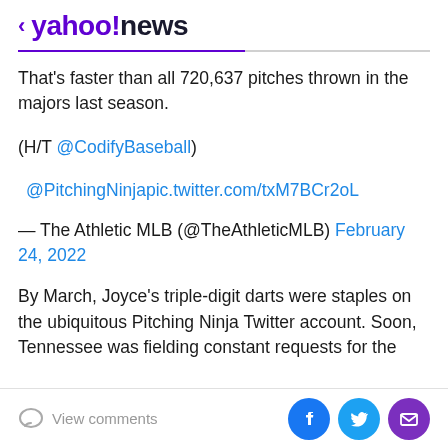< yahoo!news
That's faster than all 720,637 pitches thrown in the majors last season.
(H/T @CodifyBaseball)
@PitchingNinjapic.twitter.com/txM7BCr2oL
— The Athletic MLB (@TheAthleticMLB) February 24, 2022
By March, Joyce's triple-digit darts were staples on the ubiquitous Pitching Ninja Twitter account. Soon, Tennessee was fielding constant requests for the
View comments